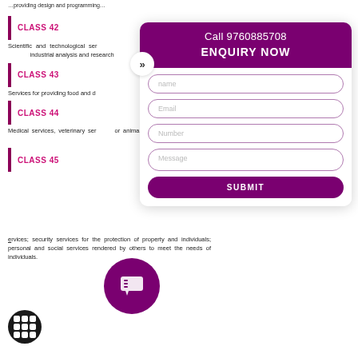CLASS 42
Scientific and technological services and research and design relating thereto; industrial analysis and research services; design and development of computer hardware and software.
CLASS 43
Services for providing food and drink;
CLASS 44
Medical services, veterinary services; hygienic and beauty care for human beings or animals; agriculture, horticulture and forestry services.
CLASS 45
Legal services; security services for the protection of property and individuals; personal and social services rendered by others to meet the needs of individuals.
[Figure (infographic): Enquiry overlay panel with phone number Call 9760885708, ENQUIRY NOW heading, and form fields: name, Email, Number, Message, and SUBMIT button. Purple/magenta color scheme.]